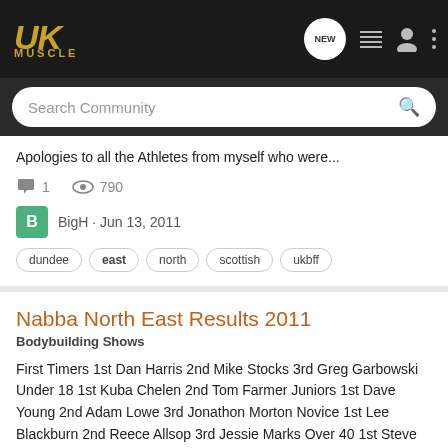[Figure (screenshot): UKMuscle forum website navigation bar with logo, search bar, and icons]
Apologies to all the Athletes from myself who were...
1   790
BigH · Jun 13, 2011
dundee  east  north  scottish  ukbff
Nabba North East Results 2011
Bodybuilding Shows
First Timers 1st Dan Harris 2nd Mike Stocks 3rd Greg Garbowski Under 18 1st Kuba Chelen 2nd Tom Farmer Juniors 1st Dave Young 2nd Adam Lowe 3rd Jonathon Morton Novice 1st Lee Blackburn 2nd Reece Allsop 3rd Jessie Marks Over 40 1st Steve Johnson 2nd...
0   3K